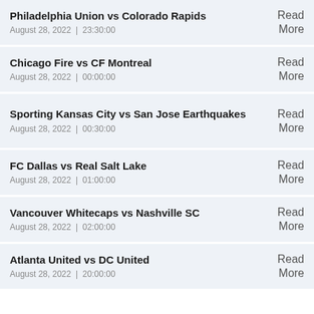Philadelphia Union vs Colorado Rapids
August 28, 2022 | 23:30:00
Read More
Chicago Fire vs CF Montreal
August 28, 2022 | 00:00:00
Read More
Sporting Kansas City vs San Jose Earthquakes
August 28, 2022 | 00:30:00
Read More
FC Dallas vs Real Salt Lake
August 28, 2022 | 01:00:00
Read More
Vancouver Whitecaps vs Nashville SC
August 28, 2022 | 02:00:00
Read More
Atlanta United vs DC United
August 28, 2022 | 20:00:00
Read More